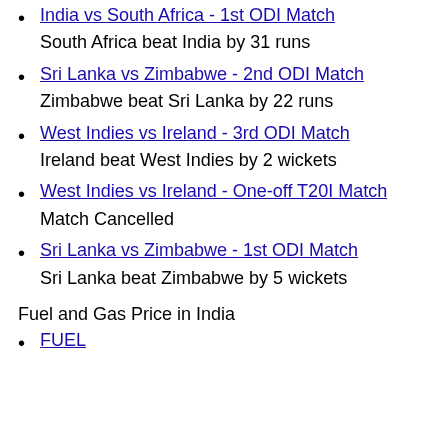India vs South Africa - 1st ODI Match
South Africa beat India by 31 runs
Sri Lanka vs Zimbabwe - 2nd ODI Match
Zimbabwe beat Sri Lanka by 22 runs
West Indies vs Ireland - 3rd ODI Match
Ireland beat West Indies by 2 wickets
West Indies vs Ireland - One-off T20I Match
Match Cancelled
Sri Lanka vs Zimbabwe - 1st ODI Match
Sri Lanka beat Zimbabwe by 5 wickets
Fuel and Gas Price in India
FUEL